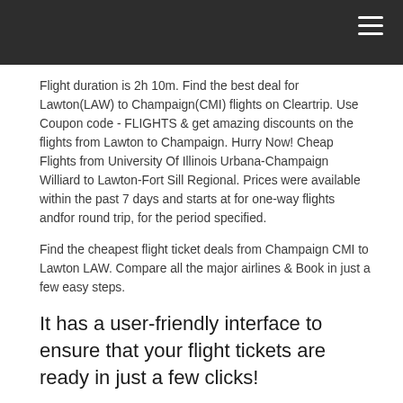Flight duration is 2h 10m. Find the best deal for Lawton(LAW) to Champaign(CMI) flights on Cleartrip. Use Coupon code - FLIGHTS & get amazing discounts on the flights from Lawton to Champaign. Hurry Now! Cheap Flights from University Of Illinois Urbana-Champaign Williard to Lawton-Fort Sill Regional. Prices were available within the past 7 days and starts at for one-way flights andfor round trip, for the period specified.
Find the cheapest flight ticket deals from Champaign CMI to Lawton LAW. Compare all the major airlines & Book in just a few easy steps.
It has a user-friendly interface to ensure that your flight tickets are ready in just a few clicks!